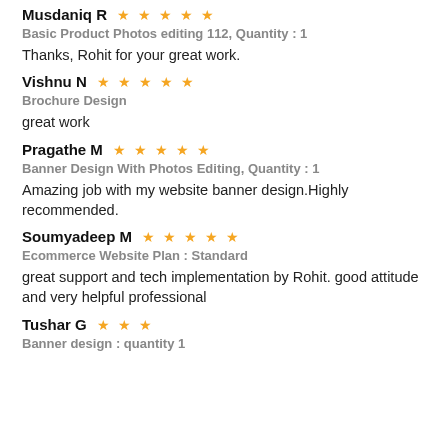Musdaniq R ★★★★★
Basic Product Photos editing 112, Quantity : 1
Thanks, Rohit for your great work.
Vishnu N ★★★★★
Brochure Design
great work
Pragathe M ★★★★★
Banner Design With Photos Editing, Quantity : 1
Amazing job with my website banner design.Highly recommended.
Soumyadeep M ★★★★★
Ecommerce Website Plan : Standard
great support and tech implementation by Rohit. good attitude and very helpful professional
Tushar G ★★★
Banner design : quantity 1